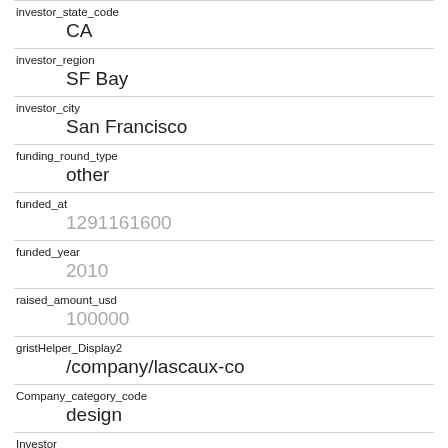| Field | Value |
| --- | --- |
| investor_state_code | CA |
| investor_region | SF Bay |
| investor_city | San Francisco |
| funding_round_type | other |
| funded_at | 1291161600 |
| funded_year | 2010 |
| raised_amount_usd | 100000 |
| gristHelper_Display2 | /company/lascaux-co |
| Company_category_code | design |
| Investor | Founders Fund
https://www.crunchbase.com/financial- |